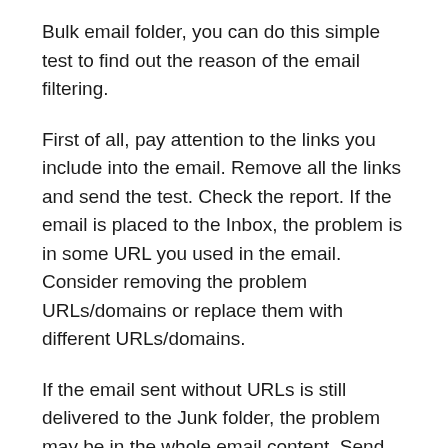Bulk email folder, you can do this simple test to find out the reason of the email filtering.
First of all, pay attention to the links you include into the email. Remove all the links and send the test. Check the report. If the email is placed to the Inbox, the problem is in some URL you used in the email. Consider removing the problem URLs/domains or replace them with different URLs/domains.
If the email sent without URLs is still delivered to the Junk folder, the problem may be in the whole email content. Send an email with a single word Test and check how it is placed. If it arrives into the Inbox, the problem is in your email content. Consider revising it.
If the test email with a single word is still moved to the Junk folder, the problem is not likely in your email content.